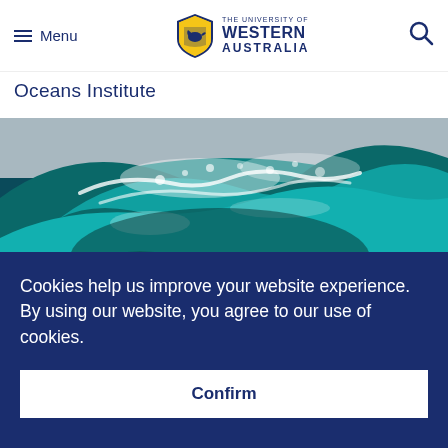Menu | THE UNIVERSITY OF WESTERN AUSTRALIA
Oceans Institute
[Figure (photo): Close-up photograph of a large ocean wave with turquoise and teal water, white sea foam, and swirling patterns]
Cookies help us improve your website experience. By using our website, you agree to our use of cookies.
Confirm